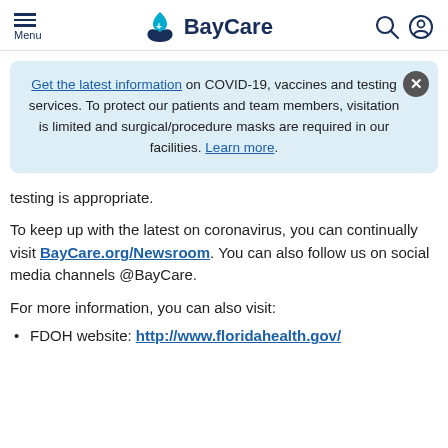Menu | BayCare
Get the latest information on COVID-19, vaccines and testing services. To protect our patients and team members, visitation is limited and surgical/procedure masks are required in our facilities. Learn more.
testing is appropriate.
To keep up with the latest on coronavirus, you can continually visit BayCare.org/Newsroom. You can also follow us on social media channels @BayCare.
For more information, you can also visit:
FDOH website: http://www.floridahealth.gov/